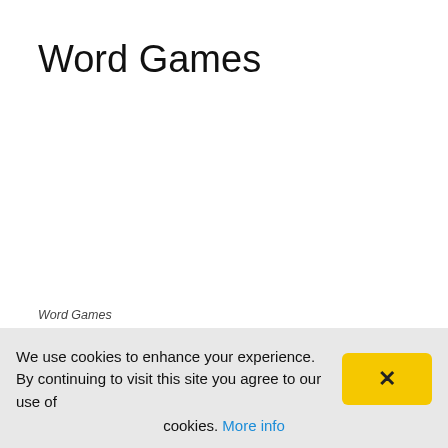Word Games
Word Games
Of course, while there are games specifically
We use cookies to enhance your experience. By continuing to visit this site you agree to our use of cookies. More info